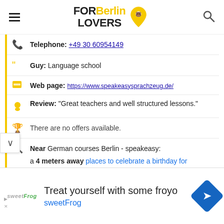FOR Berlin LOVERS
Telephone: +49 30 60954149
Guy: Language school
Web page: https://www.speakeasysprachzeug.de/
Review: "Great teachers and well structured lessons."
There are no offers available.
Near German courses Berlin - speakeasy:
a 4 meters away places to celebrate a birthday for
Treat yourself with some froyo
sweetFrog